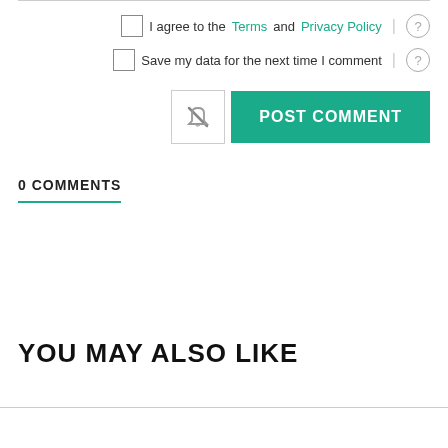I agree to the Terms and Privacy Policy
Save my data for the next time I comment
POST COMMENT
0 COMMENTS
YOU MAY ALSO LIKE